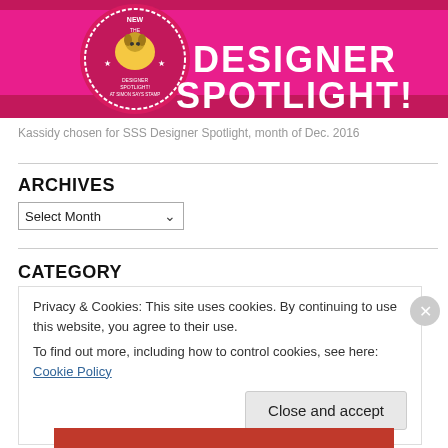[Figure (illustration): Designer Spotlight banner with pink/magenta ribbon background, text 'DESIGNER SPOTLIGHT!' in large white letters, and a circular badge on the left with a cartoon dog mascot and text 'NEW THE DESIGNER SPOTLIGHT! AT SIMON SAYS STAMP']
Kassidy chosen for SSS Designer Spotlight, month of Dec. 2016
ARCHIVES
Select Month (dropdown)
CATEGORY
Privacy & Cookies: This site uses cookies. By continuing to use this website, you agree to their use.
To find out more, including how to control cookies, see here: Cookie Policy
Close and accept